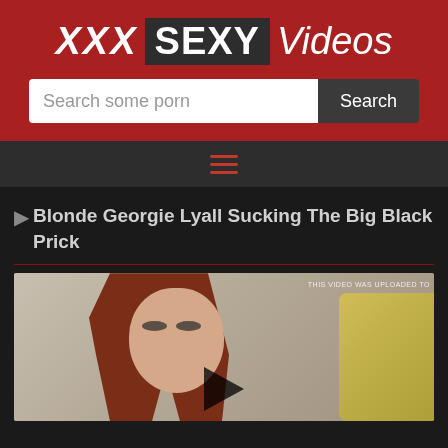XXX SEXY Videos
Search some porn
[Figure (screenshot): Website screenshot showing XXX Sexy Videos adult content site header with logo, search bar, navigation hamburger menu, video title 'Blonde Georgie Lyall Sucking The Big Black Prick', and a video thumbnail showing a woman with red hair]
▶Blonde Georgie Lyall Sucking The Big Black Prick